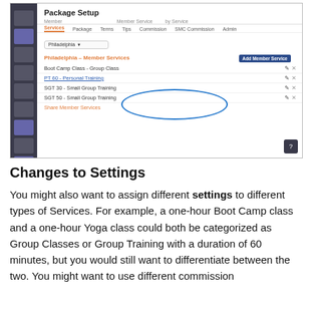[Figure (screenshot): Screenshot of a software Package Setup interface showing Member Services tab with services listed including Boot Camp Class - Group Class, PT 60 - Personal Training, SGT 30 - Small Group Training (circled), and SGT 50 - Small Group Training (circled). There is an Add Member Service button and a Share Member Services link.]
Changes to Settings
You might also want to assign different settings to different types of Services. For example, a one-hour Boot Camp class and a one-hour Yoga class could both be categorized as Group Classes or Group Training with a duration of 60 minutes, but you would still want to differentiate between the two. You might want to use different commission